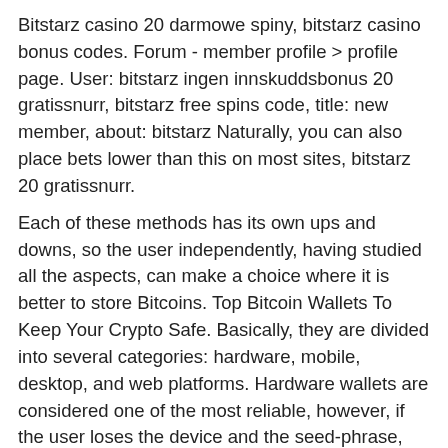Bitstarz casino 20 darmowe spiny, bitstarz casino bonus codes. Forum - member profile &gt; profile page. User: bitstarz ingen innskuddsbonus 20 gratissnurr, bitstarz free spins code, title: new member, about: bitstarz Naturally, you can also place bets lower than this on most sites, bitstarz 20 gratissnurr. Each of these methods has its own ups and downs, so the user independently, having studied all the aspects, can make a choice where it is better to store Bitcoins. Top Bitcoin Wallets To Keep Your Crypto Safe. Basically, they are divided into several categories: hardware, mobile, desktop, and web platforms. Hardware wallets are considered one of the most reliable, however, if the user loses the device and the seed-phrase, then his BTCs will disappear irrevocably, so it is recommended to store the seed-phrase separately from the device.